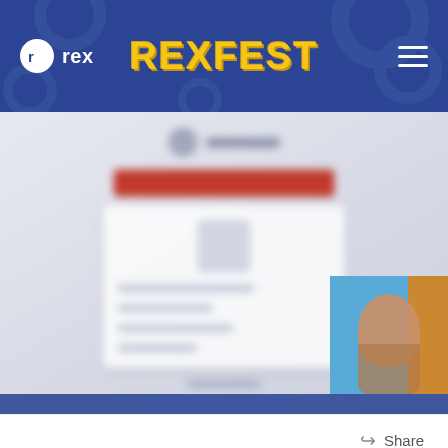rex  REXFEST
[Figure (screenshot): Blurred screenshot of a webpage with a red button bar, white content box with lines, and a thumbnail image of a person on the right side, with a dark blue bar at the bottom]
Share
Other posts